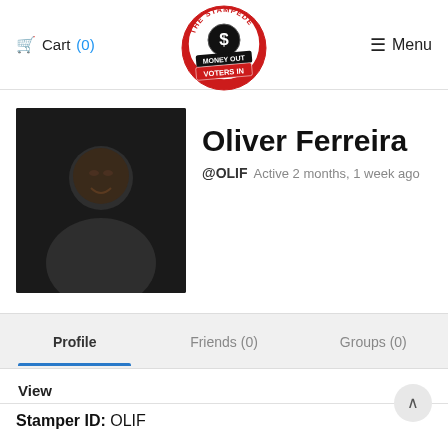Cart (0)  [The Stampede logo]  Menu
[Figure (photo): Profile photo of Oliver Ferreira, a young man smiling, dark background]
Oliver Ferreira
@OLIF Active 2 months, 1 week ago
Profile  Friends (0)  Groups (0)
View
Stamper ID: OLIF